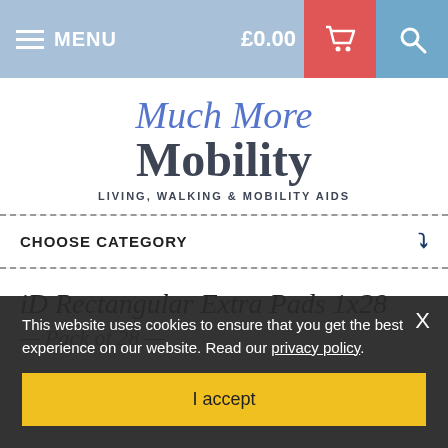MENU   £0.00
[Figure (logo): Much More Mobility logo with script 'Much More' in blue italic and bold 'Mobility' below, subtitle 'LIVING, WALKING & MOBILITY AIDS']
CHOOSE CATEGORY
iD Rectangular Extra Pads 1x28
This website uses cookies to ensure that you get the best experience on our website. Read our privacy policy.
I accept